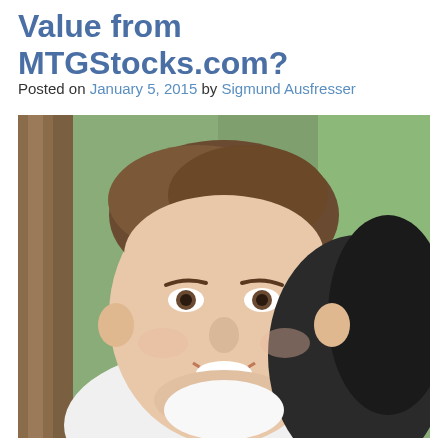Value from MTGStocks.com?
Posted on January 5, 2015 by Sigmund Ausfresser
[Figure (photo): Portrait photo of Sigmund Ausfresser, a young man smiling, wearing a white shirt and holding a dark jacket over his shoulder, leaning against a tree with green grass in the background.]